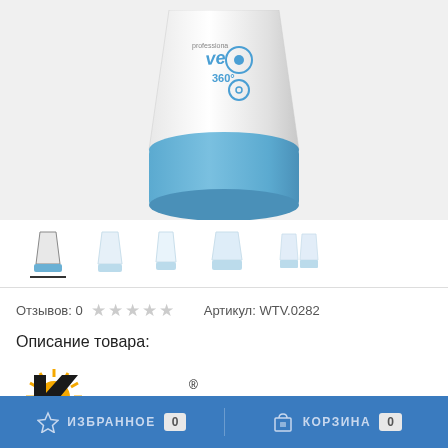[Figure (photo): Product photo of a white and blue professional sprayer bottle (Vetta 360 brand), showing the bottom/base portion with blue plastic base.]
[Figure (photo): Row of 5 thumbnail images showing different views of the sprayer product. First thumbnail is active (highlighted with underline).]
Отзывов: 0 ★★★★★ Артикул: WTV.0282
Описание товара:
[Figure (logo): Kwazar logo: sun/starburst in orange/yellow on the left, black letter K shape, and 'wazar' text with registered trademark symbol.]
ИЗБРАННОЕ 0    КОРЗИНА 0